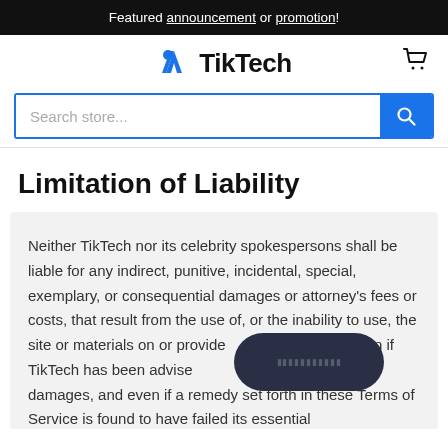Featured announcement or promotion!
[Figure (logo): TikTech logo with blue stylized T icon and cart icon]
Search store...
Limitation of Liability
Neither TikTech nor its celebrity spokespersons shall be liable for any indirect, punitive, incidental, special, exemplary, or consequential damages or attorney's fees or costs, that result from the use of, or the inability to use, the site or materials on or provided through the site, even if TikTech has been advised of the possibility of such damages, and even if a remedy set forth in these Terms of Service is found to have failed its essential